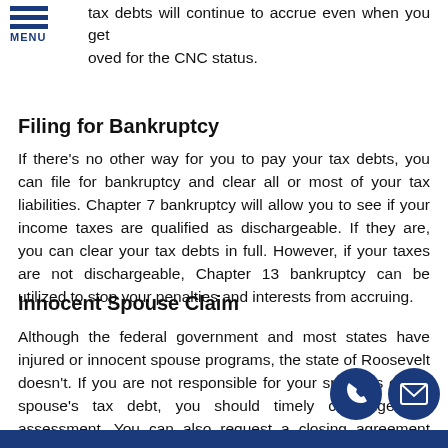tax debts will continue to accrue even when you get approved for the CNC status.
Filing for Bankruptcy
If there’s no other way for you to pay your tax debts, you can file for bankruptcy and clear all or most of your tax liabilities. Chapter 7 bankruptcy will allow you to see if your income taxes are qualified as dischargeable. If they are, you can clear your tax debts in full. However, if your taxes are not dischargeable, Chapter 13 bankruptcy can be utilized to stop your penalties and interests from accruing.
Innocent Spouse Claim
Although the federal government and most states have injured or innocent spouse programs, the state of Roosevelt doesn’t. If you are not responsible for your spouse’s or ex-spouse’s tax debt, you should timely challenge the assessment. You can also request a closing agreement instead.